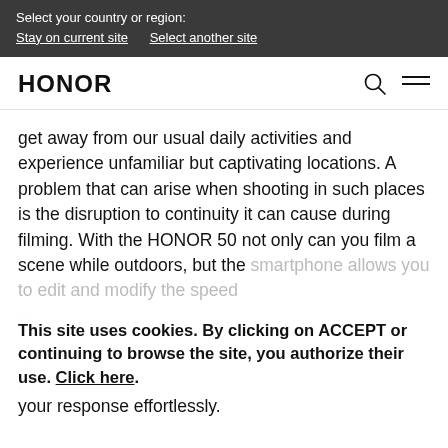Select your country or region:
Stay on current site   Select another site
HONOR
get away from our usual daily activities and experience unfamiliar but captivating locations. A problem that can arise when shooting in such places is the disruption to continuity it can cause during filming. With the HONOR 50 not only can you film a scene while outdoors, but the smartphone allows you to edit and modify the speed...
This site uses cookies. By clicking on ACCEPT or continuing to browse the site, you authorize their use. Click here.
your response effortlessly.